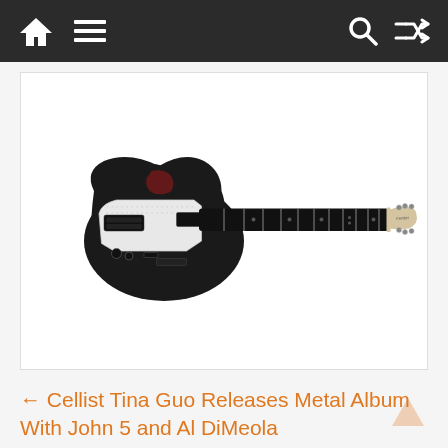Navigation bar with home, menu, search, and shuffle icons
[Figure (photo): Black electric guitar with pearl white pickguard, dark fretboard, and light-colored headstock, photographed against a white background]
← Cellist Tina Guo Releases Metal Album With John 5 and Al DiMeola